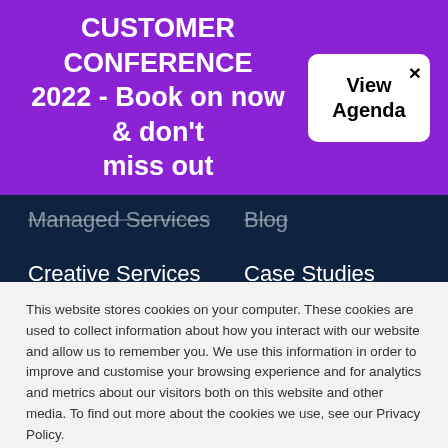CUSTOMER CONFERENCE 2022 - Book on now & don't miss out
View Agenda
Managed Services
Creative Services
Blog
Case Studies
Guides
Webinars
This website stores cookies on your computer. These cookies are used to collect information about how you interact with our website and allow us to remember you. We use this information in order to improve and customise your browsing experience and for analytics and metrics about our visitors both on this website and other media. To find out more about the cookies we use, see our Privacy Policy.
Accept